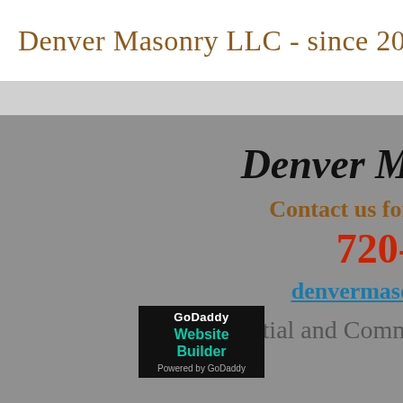Denver Masonry LLC - since 200
Denver M
Contact us for
720-
denvermaso
Residential and Comm
[Figure (logo): GoDaddy Website Builder - Powered by GoDaddy badge]